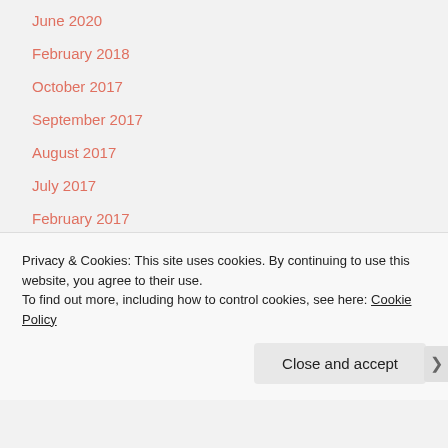June 2020
February 2018
October 2017
September 2017
August 2017
July 2017
February 2017
December 2016
November 2016
October 2016
September 2016
Privacy & Cookies: This site uses cookies. By continuing to use this website, you agree to their use.
To find out more, including how to control cookies, see here: Cookie Policy
Close and accept